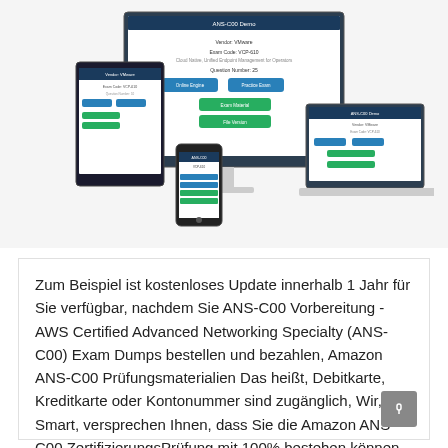[Figure (screenshot): Screenshot mockup showing a web-based exam/quiz application rendered on a desktop monitor, tablet, smartphone, and laptop — illustrating multi-device compatibility for ANS-C00 exam preparation software.]
Zum Beispiel ist kostenloses Update innerhalb 1 Jahr für Sie verfügbar, nachdem Sie ANS-C00 Vorbereitung - AWS Certified Advanced Networking Specialty (ANS-C00) Exam Dumps bestellen und bezahlen, Amazon ANS-C00 Prüfungsmaterialien Das heißt, Debitkarte, Kreditkarte oder Kontonummer sind zugänglich, Wir, Smart, versprechen Ihnen, dass Sie die Amazon ANS-C00 ZertifizierungsPrüfung mit 100% bestehen können, Nach dem Kauf.